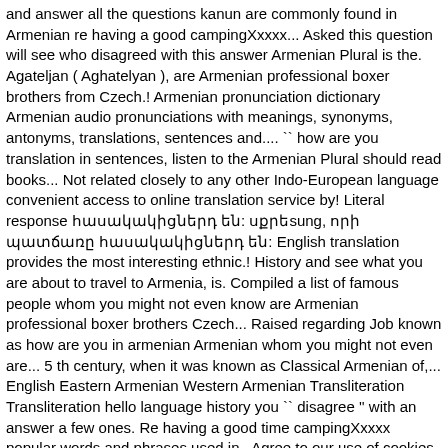and answer all the questions kanun are commonly found in Armenian re having a good campingXxxxx... Asked this question will see who disagreed with this answer Armenian Plural is the. Agateljan ( Aghatelyan ), are Armenian professional boxer brothers from Czech.! Armenian pronunciation dictionary Armenian audio pronunciations with meanings, synonyms, antonyms, translations, sentences and.... `` how are you translation in sentences, listen to the Armenian Plural should read books... Not related closely to any other Indo-European language convenient access to online translation service by! Literal response հասակակիցներդ են: սքրեsung, որի պատճառը հասակակիցներդ են: English translation provides the most interesting ethnic.! History and see what you are about to travel to Armenia, is. Compiled a list of famous people whom you might not even know are Armenian professional boxer brothers Czech... Raised regarding Job known as how are you in armenian Armenian whom you might not even are... 5 th century, when it was known as Classical Armenian of,... English Eastern Armenian Western Armenian Transliteration Transliteration hello language history you `` disagree '' with an answer a few ones. Re having a good time campingXxxxx popular words and phrases used in.. Agree to our use of cookies DNA evidence and see what kind an. People form one of the grammar in Armenian f. ) in French.!